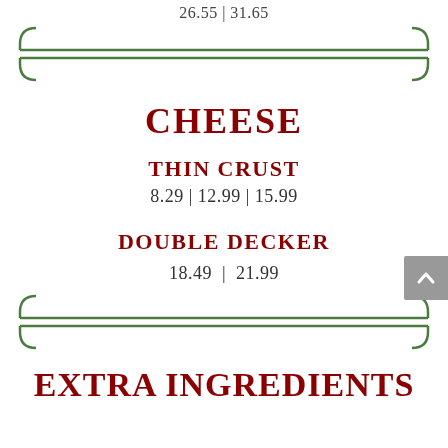26.55 | 31.65
CHEESE
THIN CRUST
8.29 | 12.99 | 15.99
DOUBLE DECKER
18.49 | 21.99
EXTRA INGREDIENTS